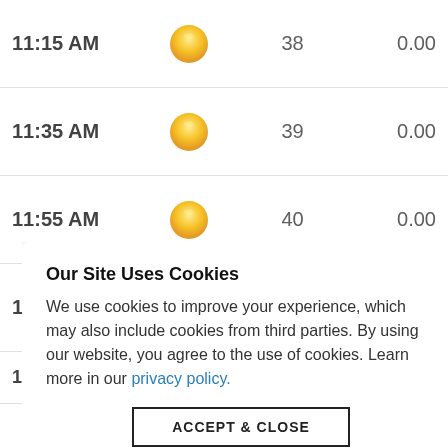| Time | Condition | Temperature | Precipitation |
| --- | --- | --- | --- |
| 11:15 AM | ☀ | 38 | 0.00 |
| 11:35 AM | ☀ | 39 | 0.00 |
| 11:55 AM | ☀ | 40 | 0.00 |
| 12:15 PM | ☀ | 40 | 0.00 |
| 12:35 PM | ☀ | 42 | 0.00 |
| [hidden] |  |  | 0.00 |
| [hidden] |  |  | 0.00 |
| [hidden] |  |  | 0.00 |
| 1:55 PM | ☀ | 46 | 0.00 |
Our Site Uses Cookies
We use cookies to improve your experience, which may also include cookies from third parties. By using our website, you agree to the use of cookies. Learn more in our privacy policy.
[ACCEPT & CLOSE]